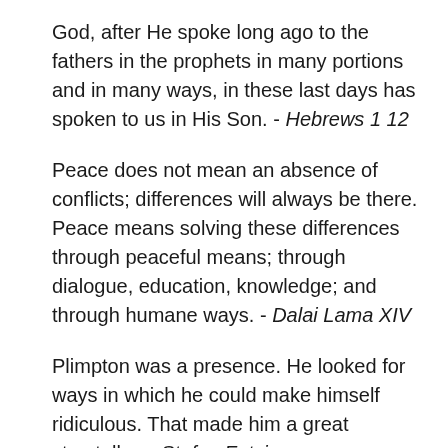God, after He spoke long ago to the fathers in the prophets in many portions and in many ways, in these last days has spoken to us in His Son. - Hebrews 1 12
Peace does not mean an absence of conflicts; differences will always be there. Peace means solving these differences through peaceful means; through dialogue, education, knowledge; and through humane ways. - Dalai Lama XIV
Plimpton was a presence. He looked for ways in which he could make himself ridiculous. That made him a great storyteller. - Stefan Fatsis